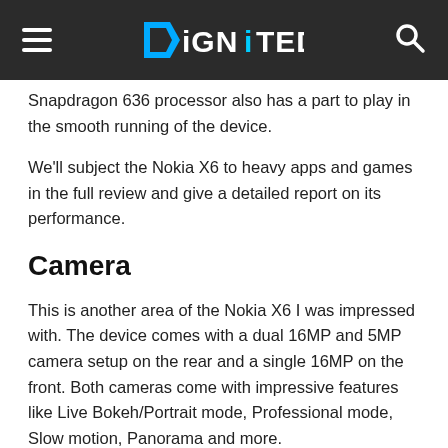DiGNITED
Snapdragon 636 processor also has a part to play in the smooth running of the device.
We'll subject the Nokia X6 to heavy apps and games in the full review and give a detailed report on its performance.
Camera
This is another area of the Nokia X6 I was impressed with. The device comes with a dual 16MP and 5MP camera setup on the rear and a single 16MP on the front. Both cameras come with impressive features like Live Bokeh/Portrait mode, Professional mode, Slow motion, Panorama and more.